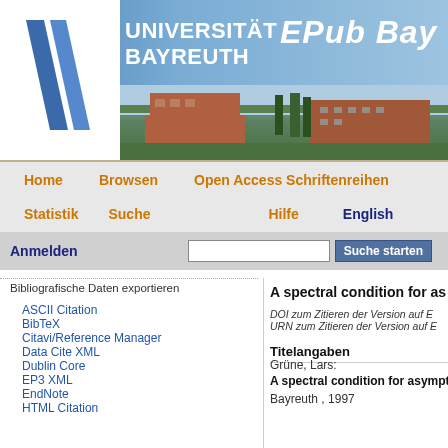[Figure (screenshot): Universität Bayreuth EPub Bayreuth website header with university logo, campus photo, navigation bars, and search bar]
Bibliografische Daten exportieren
ASCII Citation
BibTeX
Citavi/Reference Manager
Data Cite XML
Dublin Core
EP3 XML
EndNote
HTML Citation
A spectral condition for as
DOI zum Zitieren der Version auf E
URN zum Zitieren der Version auf E
Titelangaben
Grüne, Lars:
A spectral condition for asympto
Bayreuth , 1997